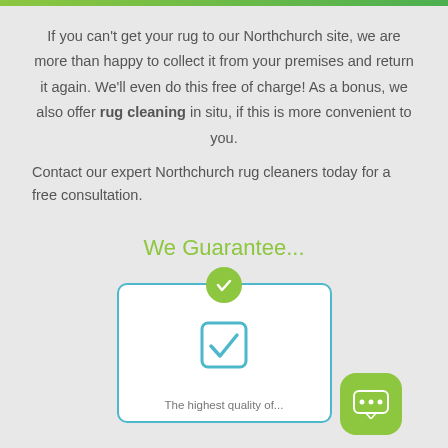If you can't get your rug to our Northchurch site, we are more than happy to collect it from your premises and return it again. We'll even do this free of charge! As a bonus, we also offer rug cleaning in situ, if this is more convenient to you.
Contact our expert Northchurch rug cleaners today for a free consultation.
We Guarantee...
[Figure (illustration): A white card with a blue border and rounded corners, featuring a large blue checkbox icon in the center. A green circle with a white checkmark sits at the top center of the card, overlapping the border. Text 'The highest quality of...' appears partially at the bottom. A green rounded square chat bubble icon with three dots is positioned to the right of the card.]